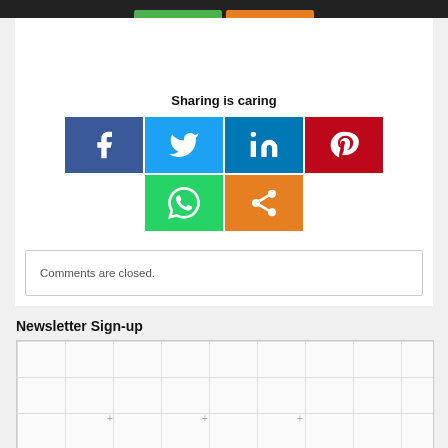[Figure (infographic): Social sharing buttons: Facebook (blue), Twitter (light blue), LinkedIn (dark blue), Pinterest (red), WhatsApp (green), Share (orange)]
Sharing is caring
Comments are closed.
Newsletter Sign-up
[Figure (other): Grid/placeholder area for newsletter sign-up widget]